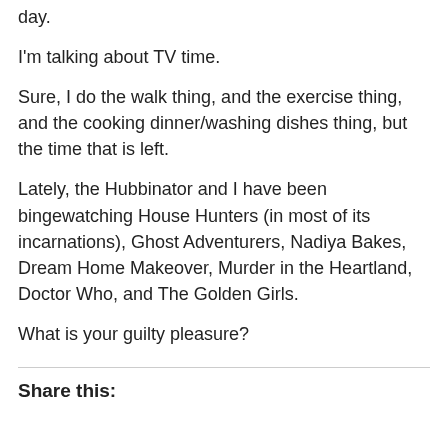day.
I'm talking about TV time.
Sure, I do the walk thing, and the exercise thing, and the cooking dinner/washing dishes thing, but the time that is left.
Lately, the Hubbinator and I have been bingewatching House Hunters (in most of its incarnations), Ghost Adventurers, Nadiya Bakes, Dream Home Makeover, Murder in the Heartland, Doctor Who, and The Golden Girls.
What is your guilty pleasure?
Share this: